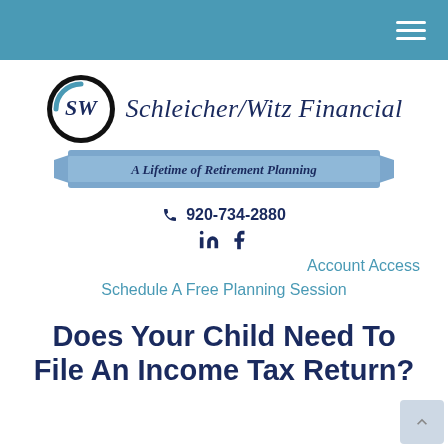Navigation bar with hamburger menu
[Figure (logo): Schleicher/Witz Financial logo — circular SW monogram with blue and black styling, alongside company name in dark navy italic serif font, and a blue ribbon banner underneath reading 'A Lifetime of Retirement Planning']
920-734-2880
in f (LinkedIn and Facebook social icons)
Account Access
Schedule A Free Planning Session
Does Your Child Need To File An Income Tax Return?